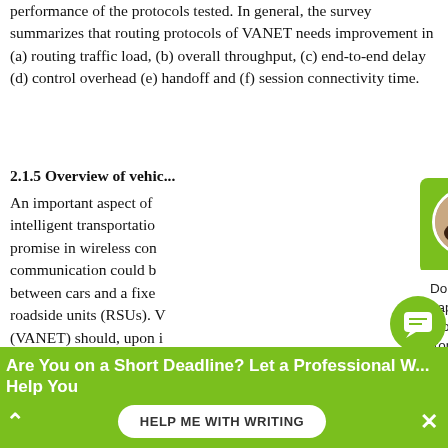performance of the protocols tested. In general, the survey summarizes that routing protocols of VANET needs improvement in (a) routing traffic load, (b) overall throughput, (c) end-to-end delay (d) control overhead (e) handoff and (f) session connectivity time.
2.1.5 Overview of vehic...
An important aspect of intelligent transportation ... promise in wireless con... communication could b... between cars and a fixe... roadside units (RSUs). V... (VANET) should, upon i... distribute safety inform... number of accidents by... danger before they actu... comprise of sensors and on board units (OBU)...
[Figure (screenshot): Green chat popup overlay with avatar photo of Mia, greeting 'Hi! I'm Mia!', message 'Don't know how to start your paper? Worry no more! Get professional writing assistance from me.' and a 'Check it out' link.]
[Figure (screenshot): Green bottom banner: 'Are You on a Short Deadline? Let a Professional W... Help You' with a 'HELP ME WITH WRITING' button and X close icon.]